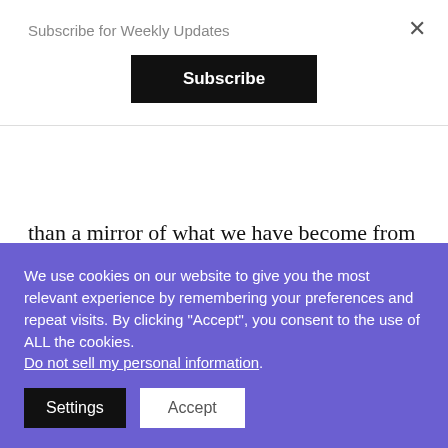Subscribe for Weekly Updates
Subscribe
than a mirror of what we have become from within." ~ Gregg Braden
#23
“If everything we do and create is done to the best of our ability, then until we compare it to something else, how
We use cookies on our website to give you the most relevant experience by remembering your preferences and repeat visits. By clicking “Accept”, you consent to the use of ALL the cookies. Do not sell my personal information.
Settings
Accept